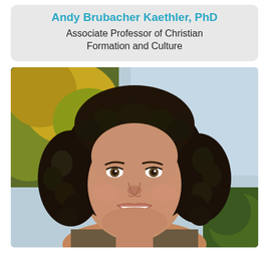Andy Brubacher Kaethler, PhD
Associate Professor of Christian Formation and Culture
[Figure (photo): Professional headshot of a woman with dark curly hair, smiling, with a blurred outdoor background of trees and sky.]